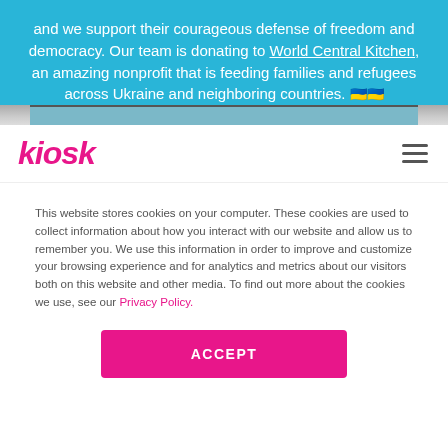and we support their courageous defense of freedom and democracy. Our team is donating to World Central Kitchen, an amazing nonprofit that is feeding families and refugees across Ukraine and neighboring countries. 🇺🇦🇺🇦
[Figure (photo): Partial photo strip visible as a thin horizontal band]
kiosk
This website stores cookies on your computer. These cookies are used to collect information about how you interact with our website and allow us to remember you. We use this information in order to improve and customize your browsing experience and for analytics and metrics about our visitors both on this website and other media. To find out more about the cookies we use, see our Privacy Policy.
ACCEPT